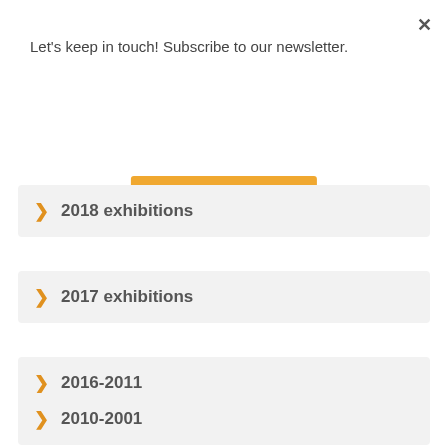×
Let's keep in touch! Subscribe to our newsletter.
Subscribe
> 2018 exhibitions
> 2017 exhibitions
> 2016-2011
> 2010-2001